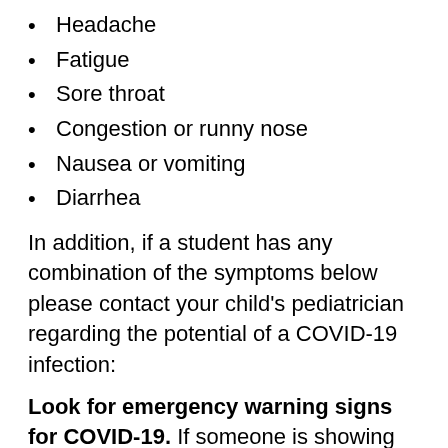Headache
Fatigue
Sore throat
Congestion or runny nose
Nausea or vomiting
Diarrhea
In addition, if a student has any combination of the symptoms below please contact your child's pediatrician regarding the potential of a COVID-19 infection:
Look for emergency warning signs for COVID-19. If someone is showing any of these signs, seek emergency medical care immediately:
Trouble breathing
Persistent pain or pressure in the chest
New confusion
Inability to wake or stay awake